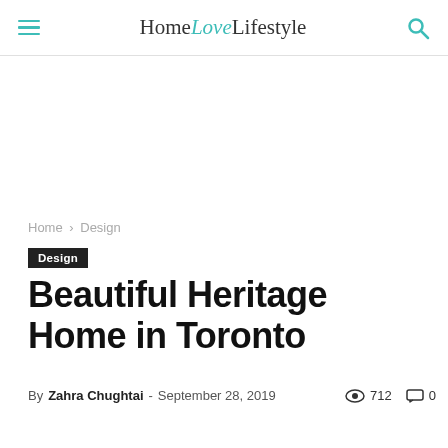Home Love Lifestyle
Home › Design
Design
Beautiful Heritage Home in Toronto
By Zahra Chughtai - September 28, 2019  712  0